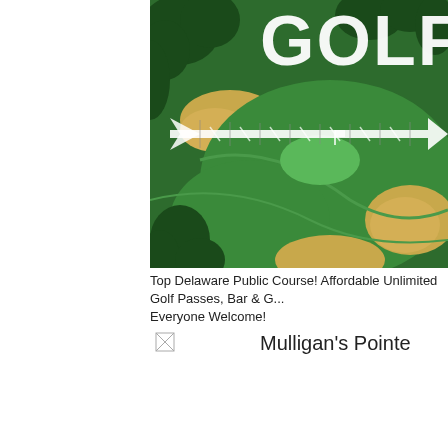[Figure (photo): Aerial view of a golf course with green fairways, sand bunkers, and trees. Large white text 'GOLF' visible in upper right. A decorative white arrow graphic overlays the center of the image.]
Top Delaware Public Course! Affordable Unlimited Golf Passes, Bar & G... Everyone Welcome!
[Figure (photo): Small broken/missing image icon placeholder on the left side]
Mulligan's Pointe